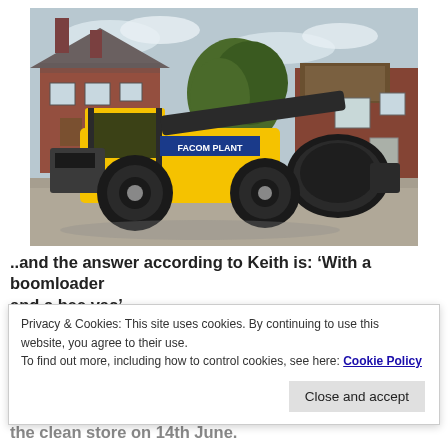[Figure (photo): A yellow telehandler/boomloader (branded 'FACOM PLANT') parked on a gravel driveway in front of red brick rural buildings, with a large black bee vac attachment on the back. Trees and a gate are visible in the background.]
..and the answer according to Keith is: ‘With a boomloader and a bee vac’
Privacy & Cookies: This site uses cookies. By continuing to use this website, you agree to their use.
To find out more, including how to control cookies, see here: Cookie Policy
the clean store on 14th June.